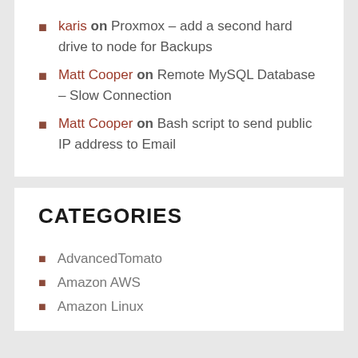karis on Proxmox – add a second hard drive to node for Backups
Matt Cooper on Remote MySQL Database – Slow Connection
Matt Cooper on Bash script to send public IP address to Email
CATEGORIES
AdvancedTomato
Amazon AWS
Amazon Linux